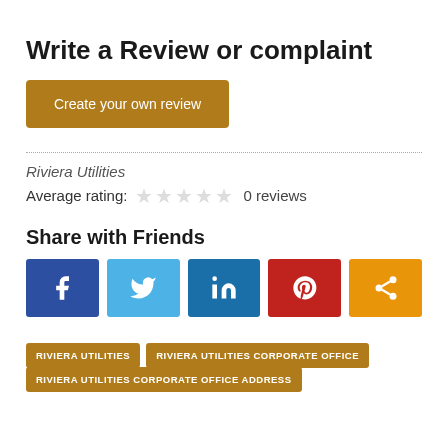Write a Review or complaint
Create your own review
Riviera Utilities
Average rating:  0 reviews
Share with Friends
[Figure (infographic): Social share buttons: Facebook, Twitter, LinkedIn, Pinterest, Share]
RIVIERA UTILITIES
RIVIERA UTILITIES CORPORATE OFFICE
RIVIERA UTILITIES CORPORATE OFFICE ADDRESS